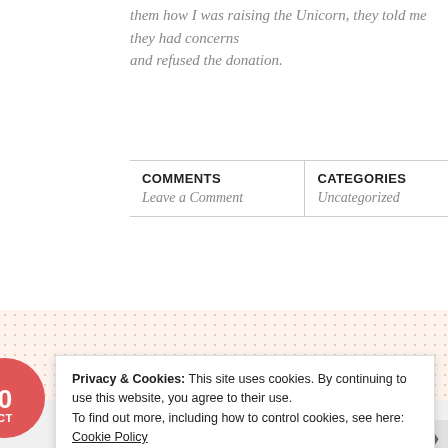them how I was raising the Unicorn, they told me they had concerns and refused the donation.
| COMMENTS | CATEGORIES |
| --- | --- |
| Leave a Comment | Uncategorized |
[Figure (other): Decorative dotted/patterned band with peach/cream background]
Privacy & Cookies: This site uses cookies. By continuing to use this website, you agree to their use.
To find out more, including how to control cookies, see here: Cookie Policy
Close and accept